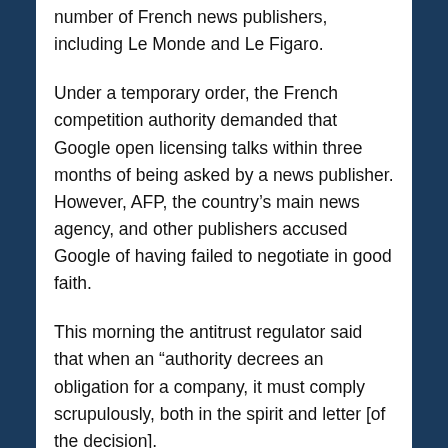number of French news publishers, including Le Monde and Le Figaro.
Under a temporary order, the French competition authority demanded that Google open licensing talks within three months of being asked by a news publisher. However, AFP, the country's main news agency, and other publishers accused Google of having failed to negotiate in good faith.
This morning the antitrust regulator said that when an “authority decrees an obligation for a company, it must comply scrupulously, both in the spirit and letter [of the decision].
“Here, this was unfortunately not the case,” added Isabelle de Silva, who heads the